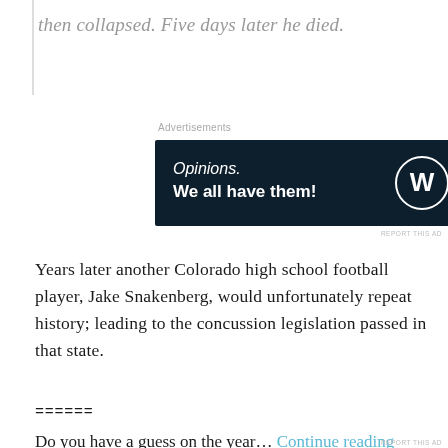then collapsed. Five days later he died.
Advertisements
[Figure (screenshot): Advertisement banner with dark navy background. Text reads 'Opinions. We all have them!' with WordPress logo and another circular logo on the right.]
Years later another Colorado high school football player, Jake Snakenberg, would unfortunately repeat history; leading to the concussion legislation passed in that state.
======
Do you have a guess on the year... Continue reading →
Advertisements